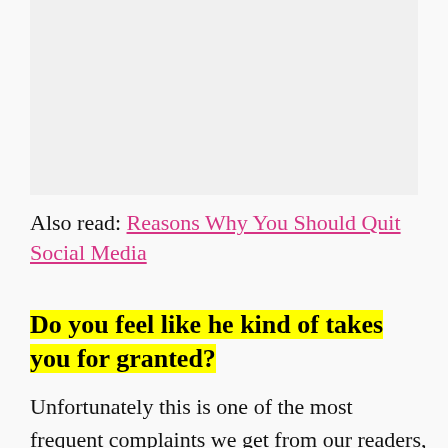[Figure (other): Image placeholder area at the top of the page]
Also read: Reasons Why You Should Quit Social Media
Do you feel like he kind of takes you for granted?
Unfortunately this is one of the most frequent complaints we get from our readers, where